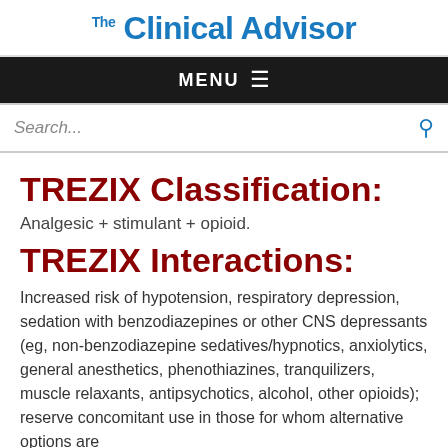Clinical Advisor
MENU
Search...
TREZIX Classification:
Analgesic + stimulant + opioid.
TREZIX Interactions:
Increased risk of hypotension, respiratory depression, sedation with benzodiazepines or other CNS depressants (eg, non-benzodiazepine sedatives/hypnotics, anxiolytics, general anesthetics, phenothiazines, tranquilizers, muscle relaxants, antipsychotics, alcohol, other opioids); reserve concomitant use in those for whom alternative options are